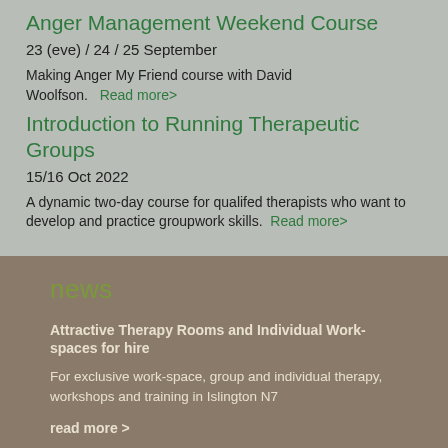Anger Management Weekend Course
23 (eve) / 24 / 25 September
Making Anger My Friend course with David Woolfson.   Read more>
Introduction to Running Therapeutic Groups
15/16 Oct 2022
A dynamic two-day course for qualifed therapists who want to develop and practice groupwork skills.  Read more>
news
Attractive Therapy Rooms and Individual Work-spaces for hire
For exclusive work-space, group and individual therapy, workshops and training in Islington N7
read more >
Black Lives Matter
We are proud to stand in solidarity with Black Lives Matter and the